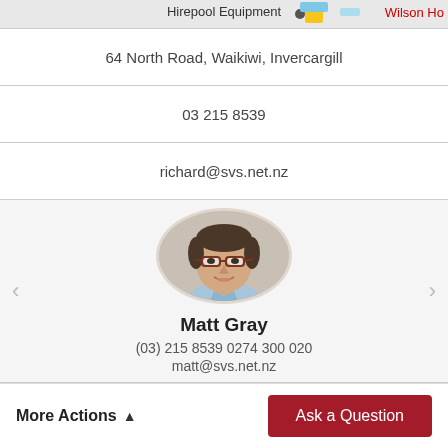[Figure (screenshot): Map strip at top showing Hirepool Equipment label with a dot and yellow box, and 'Wilson Ho' text in red on the right]
64 North Road, Waikiwi, Invercargill
03 215 8539
richard@svs.net.nz
[Figure (photo): Circular profile photo of Matt Gray, a man with glasses wearing a light blue shirt, smiling]
Matt Gray
(03) 215 8539 0274 300 020
matt@svs.net.nz
More Actions ▲
Ask a Question